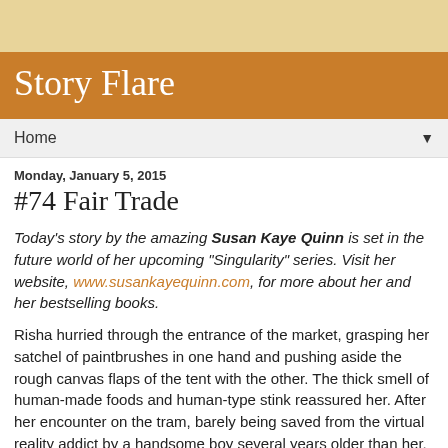Story Flare
Story Flare
Home
Monday, January 5, 2015
#74 Fair Trade
Today's story by the amazing Susan Kaye Quinn is set in the future world of her upcoming "Singularity" series. Visit her website, www.susankayequinn.com, for more about her and her bestselling books.
Risha hurried through the entrance of the market, grasping her satchel of paintbrushes in one hand and pushing aside the rough canvas flaps of the tent with the other. The thick smell of human-made foods and human-type stink reassured her. After her encounter on the tram, barely being saved from the virtual reality addict by a handsome boy several years older than her, it was good to be back where the dangers...